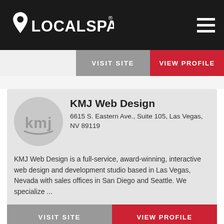LOCALSPARK
VISIT SITE  VIEW PROFILE
KMJ Web Design
6615 S. Eastern Ave., Suite 105, Las Vegas, NV 89119
KMJ Web Design is a full-service, award-winning, interactive web design and development studio based in Las Vegas, Nevada with sales offices in San Diego and Seattle. We specialize ...
VISIT SITE  VIEW PROFILE